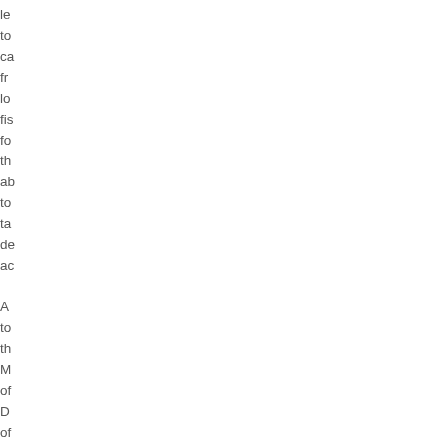le to ca fr lo fis fo th ab to ta de ac
A to th M of D of th E of k